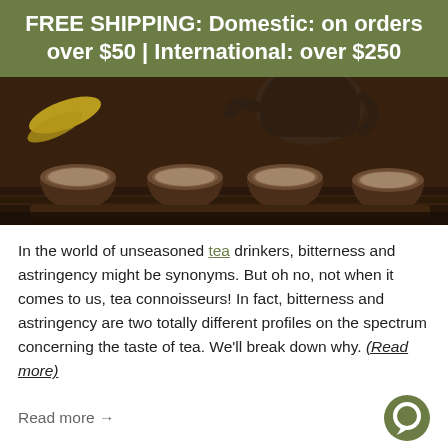FREE SHIPPING: Domestic: on orders over $50 | International: over $250
[Figure (photo): Four brown clay tea cups filled with tea arranged on a wooden tray, with a teapot in the background]
In the world of unseasoned tea drinkers, bitterness and astringency might be synonyms. But oh no, not when it comes to us, tea connoisseurs! In fact, bitterness and astringency are two totally different profiles on the spectrum concerning the taste of tea. We'll break down why. (Read more)
Read more →